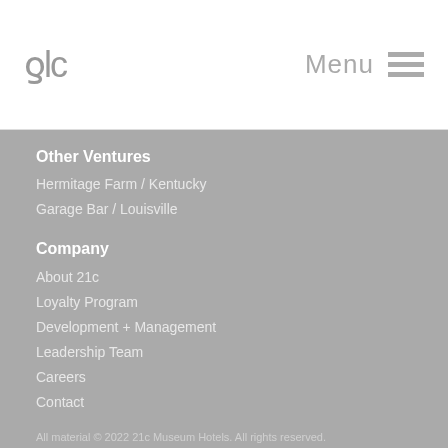21c | Menu
Other Ventures
Hermitage Farm / Kentucky
Garage Bar / Louisville
Company
About 21c
Loyalty Program
Development + Management
Leadership Team
Careers
Contact
All material © 2022 21c Museum Hotels. All rights reserved.
Privacy
Terms
Accessibility
Terms
#Allsafe Cleanliness Protocols
Cancellation Policies